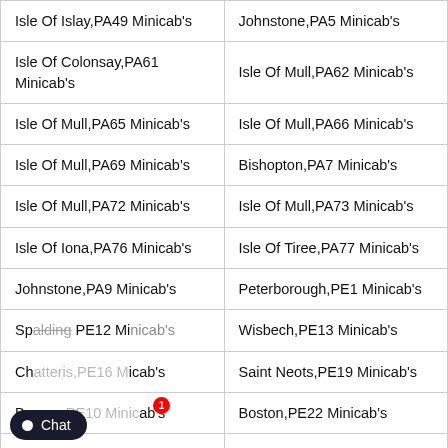| Isle Of Islay,PA49 Minicab's | Johnstone,PA5 Minicab's |
| Isle Of Colonsay,PA61 Minicab's | Isle Of Mull,PA62 Minicab's |
| Isle Of Mull,PA65 Minicab's | Isle Of Mull,PA66 Minicab's |
| Isle Of Mull,PA69 Minicab's | Bishopton,PA7 Minicab's |
| Isle Of Mull,PA72 Minicab's | Isle Of Mull,PA73 Minicab's |
| Isle Of Iona,PA76 Minicab's | Isle Of Tiree,PA77 Minicab's |
| Johnstone,PA9 Minicab's | Peterborough,PE1 Minicab's |
| Spalding,PE12 Minicab's | Wisbech,PE13 Minicab's |
| Ch[obscured],PE[obscured] Minicab's | Saint Neots,PE19 Minicab's |
| Bo[obscured] Minicab's | Boston,PE22 Minicab's |
| Sk[obscured] Minicab's | Huntingdon,PE26 Minicab's |
| Huntingdon,PE29 Minicab's | Peterborough,PE3 Minicab's |
| Kings Lynn,PE32 Minicab's | Kings Lynn,PE33 Minicab's |